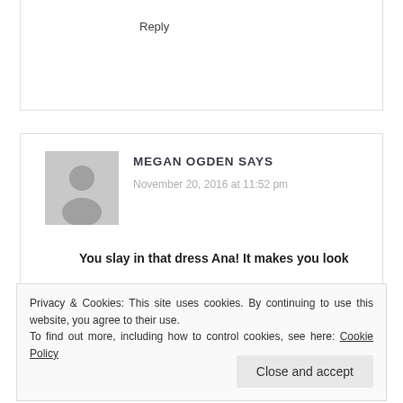Reply
MEGAN OGDEN SAYS
November 20, 2016 at 11:52 pm
You slay in that dress Ana! It makes you look
Privacy & Cookies: This site uses cookies. By continuing to use this website, you agree to their use.
To find out more, including how to control cookies, see here: Cookie Policy
Close and accept